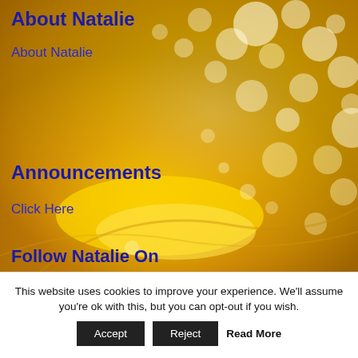[Figure (photo): Golden bokeh/glitter background with yellow and gold light bubbles and sparkles swirling]
About Natalie
About Natalie
Announcements
Click Here
Follow Natalie On
[Figure (logo): Facebook social media icon - golden/tan colored square with letter f]
[Figure (logo): Google+ social media icon - golden/tan colored square with G+]
This website uses cookies to improve your experience. We'll assume you're ok with this, but you can opt-out if you wish.
Accept
Reject
Read More